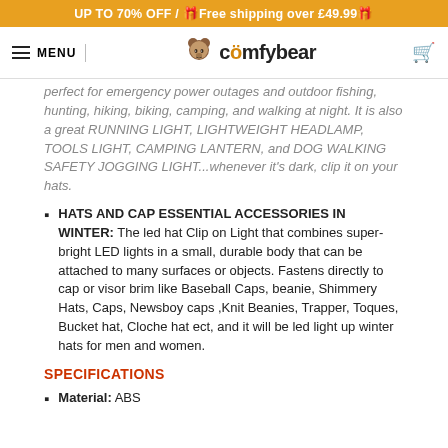UP TO 70% OFF / 🎁Free shipping over £49.99🎁
MENU | comfybear
perfect for emergency power outages and outdoor fishing, hunting, hiking, biking, camping, and walking at night. It is also a great RUNNING LIGHT, LIGHTWEIGHT HEADLAMP, TOOLS LIGHT, CAMPING LANTERN, and DOG WALKING SAFETY JOGGING LIGHT...whenever it's dark, clip it on your hats.
HATS AND CAP ESSENTIAL ACCESSORIES IN WINTER: The led hat Clip on Light that combines super-bright LED lights in a small, durable body that can be attached to many surfaces or objects. Fastens directly to cap or visor brim like Baseball Caps, beanie, Shimmery Hats, Caps, Newsboy caps ,Knit Beanies, Trapper, Toques, Bucket hat, Cloche hat ect, and it will be led light up winter hats for men and women.
SPECIFICATIONS
Material: ABS